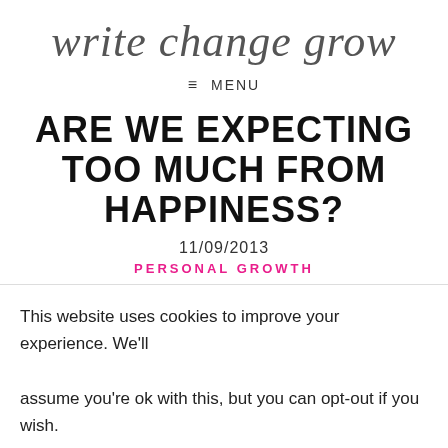[Figure (logo): Script/cursive logo reading 'write change grow' in grey handwritten style]
≡ MENU
ARE WE EXPECTING TOO MUCH FROM HAPPINESS?
11/09/2013
PERSONAL GROWTH
This website uses cookies to improve your experience. We'll assume you're ok with this, but you can opt-out if you wish.
Accept   Read More - Privacy Policy